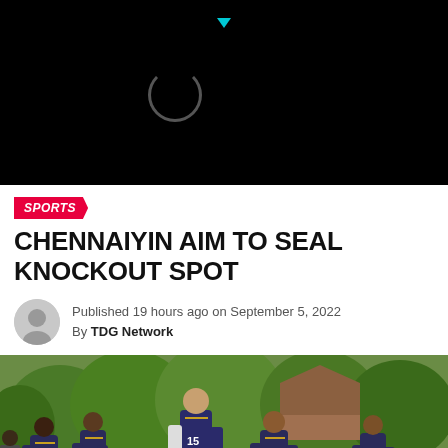[Figure (screenshot): Black video player placeholder with loading circle and cyan play indicator arrow at top]
SPORTS
CHENNAIYIN AIM TO SEAL KNOCKOUT SPOT
Published 19 hours ago on September 5, 2022
By TDG Network
[Figure (photo): Football players in dark blue/purple Chennaiyin FC jerseys running during a training session, lush green trees in the background, building roof visible in the upper right]